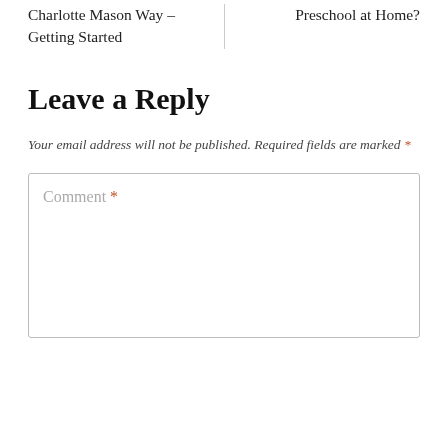Charlotte Mason Way – Getting Started
Preschool at Home?
Leave a Reply
Your email address will not be published. Required fields are marked *
Comment *